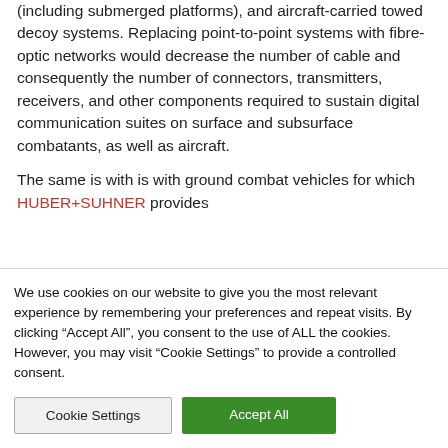(including submerged platforms), and aircraft-carried towed decoy systems. Replacing point-to-point systems with fibre-optic networks would decrease the number of cable and consequently the number of connectors, transmitters, receivers, and other components required to sustain digital communication suites on surface and subsurface combatants, as well as aircraft.
The same is with is with ground combat vehicles for which HUBER+SUHNER provides
We use cookies on our website to give you the most relevant experience by remembering your preferences and repeat visits. By clicking "Accept All", you consent to the use of ALL the cookies. However, you may visit "Cookie Settings" to provide a controlled consent.